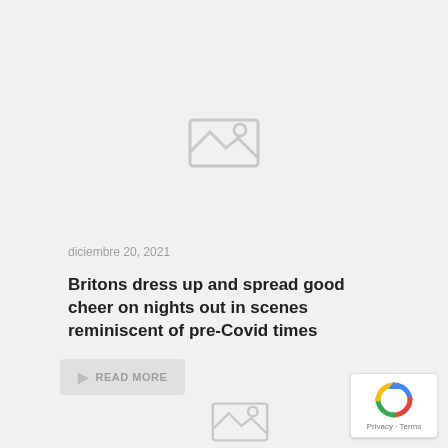[Figure (illustration): Broken/missing image placeholder icon, centered in upper portion of page]
diciembre 20, 2021
Britons dress up and spread good cheer on nights out in scenes reminiscent of pre-Covid times
Read more
[Figure (illustration): Second broken/missing image placeholder icon in lower portion of page]
[Figure (logo): reCAPTCHA badge with Privacy and Terms links]